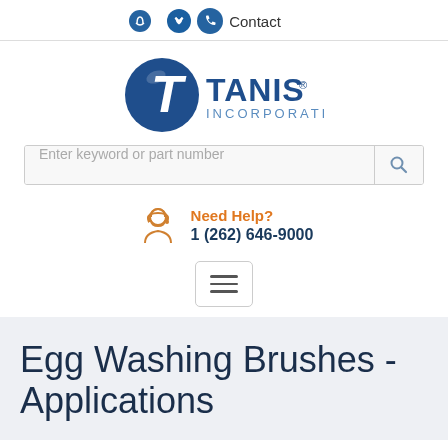Contact
[Figure (logo): Tanis Incorporated logo — blue circle with white letter T and company name in blue text]
Enter keyword or part number
Need Help? 1 (262) 646-9000
Egg Washing Brushes - Applications